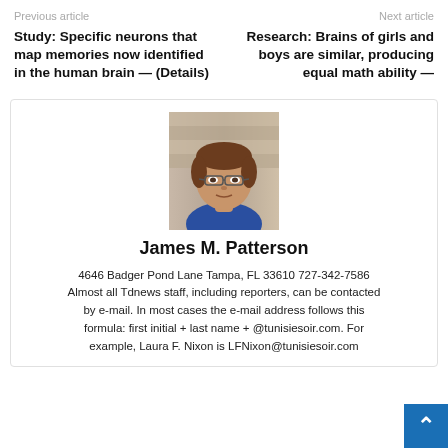Previous article | Next article
Study: Specific neurons that map memories now identified in the human brain — (Details)
Research: Brains of girls and boys are similar, producing equal math ability —
[Figure (photo): Headshot photo of James M. Patterson, a middle-aged man with glasses wearing a blue shirt, with a striped background]
James M. Patterson
4646 Badger Pond Lane Tampa, FL 33610 727-342-7586
Almost all Tdnews staff, including reporters, can be contacted by e-mail. In most cases the e-mail address follows this formula: first initial + last name + @tunisiesoir.com. For example, Laura F. Nixon is LFNixon@tunisiesoir.com